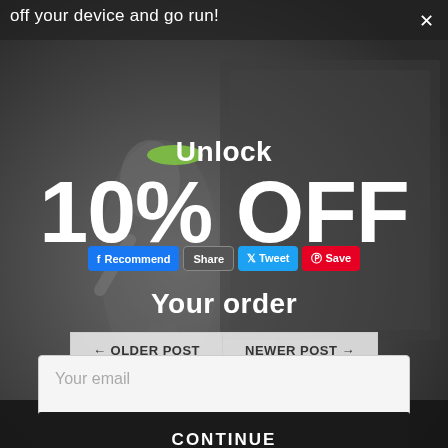off your device and go run!
[Figure (photo): A runner wearing a green cap and grey outfit jogging, set against a dark industrial background. A popup/modal overlay is shown on top of the photo.]
Unlock
10% OFF
Your order
Recommend  Share  Tweet  Save
← OLDER POST   NEWER POST →
Your email
CONTINUE